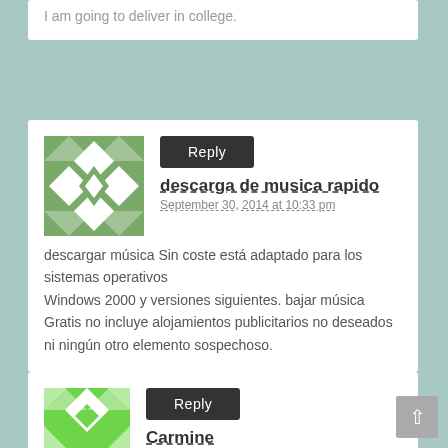I am going to deliver in college.
[Figure (illustration): Green geometric mosaic avatar icon for user descarga de musica rapido]
Reply
descarga de musica rapido
September 30, 2014 at 10:33 pm
descargar música Sin coste está adaptado para los sistemas operativos
Windows 2000 y versiones siguientes. bajar música Gratis no incluye alojamientos publicitarios no deseados
ni ningún otro elemento sospechoso.
[Figure (illustration): Bright green geometric mosaic avatar icon for user Carmine]
Reply
Carmine